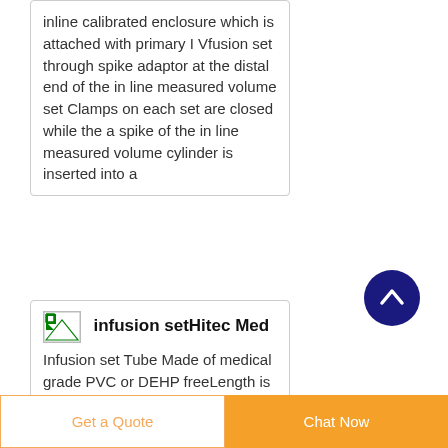inline calibrated enclosure which is attached with primary I Vfusion set through spike adaptor at the distal end of the in line measured volume set Clamps on each set are closed while the a spike of the in line measured volume cylinder is inserted into a
[Figure (other): Small broken image icon placeholder]
infusion setHitec Med
Infusion set Tube Made of medical grade PVC or DEHP freeLength is available from 150cm to 250cmHigh flexible
Get a Quote
Chat Now